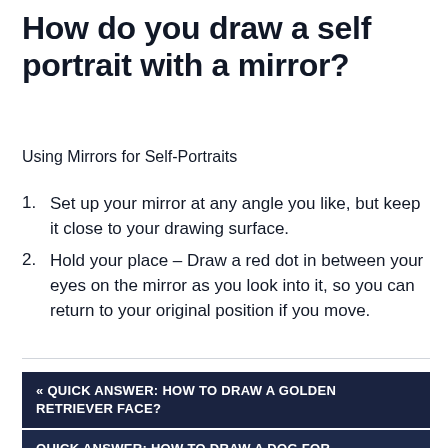How do you draw a self portrait with a mirror?
Using Mirrors for Self-Portraits
Set up your mirror at any angle you like, but keep it close to your drawing surface.
Hold your place – Draw a red dot in between your eyes on the mirror as you look into it, so you can return to your original position if you move.
« QUICK ANSWER: HOW TO DRAW A GOLDEN RETRIEVER FACE?
QUICK ANSWER: HOW TO DRAW A DOG FOR BEGINNERS? »